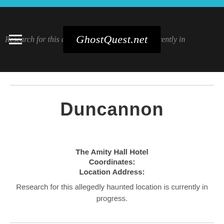GhostQuest.net
Duncannon
The Amity Hall Hotel
Coordinates:
Location Address:
Research for this allegedly haunted location is currently in progress.